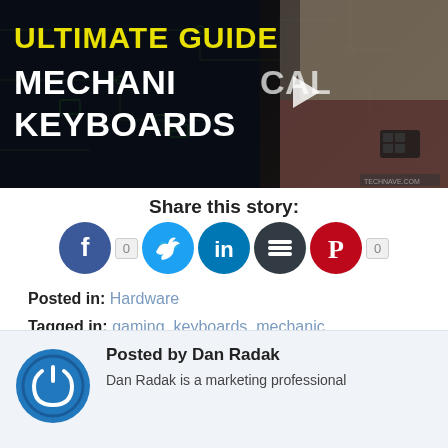[Figure (screenshot): Video thumbnail for 'Ultimate Guide Mechanical Keyboards' showing a man holding keyboard switches against a circuit board background with yellow and white text]
Share this story:
[Figure (infographic): Social media sharing icons: Facebook (count: 0), Twitter, LinkedIn, Buffer/Stackshare, Pinterest (count: 0)]
Posted in: Hardware
Tagged in: gaming, keyboards, mechanic
Posted by Dan Radak
Dan Radak is a marketing professional